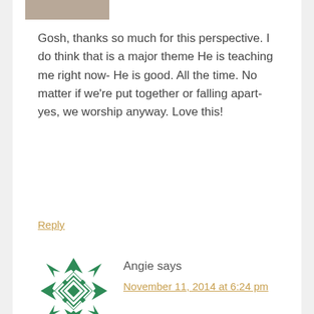[Figure (photo): Partial avatar image at top of comment, cut off at top edge]
Gosh, thanks so much for this perspective. I do think that is a major theme He is teaching me right now- He is good. All the time. No matter if we're put together or falling apart- yes, we worship anyway. Love this!
Reply
[Figure (illustration): Green geometric snowflake/quilt-pattern avatar icon for user Angie]
Angie says
November 11, 2014 at 6:24 pm
Great perspective! And most times it's every hour that you have to refocus.